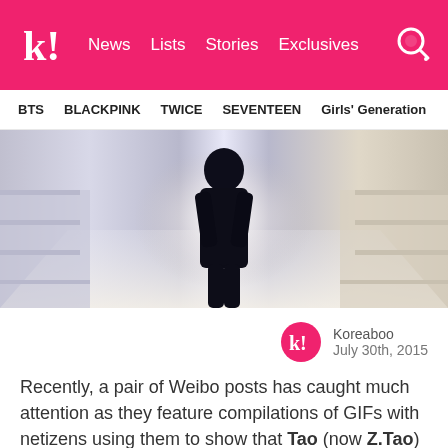k! News  Lists  Stories  Exclusives
BTS  BLACKPINK  TWICE  SEVENTEEN  Girls' Generation
[Figure (photo): A dark silhouetted figure standing in a bright hallway/corridor, backlit by light at the end, with blurred walls on either side.]
Koreaboo
July 30th, 2015
Recently, a pair of Weibo posts has caught much attention as they feature compilations of GIFs with netizens using them to show that Tao (now Z.Tao) was bullied when promoting with